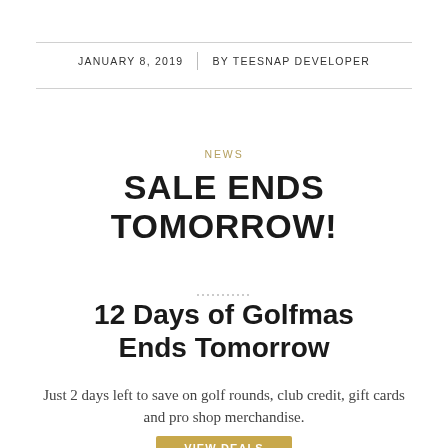JANUARY 8, 2019  |  BY TEESNAP DEVELOPER
NEWS
SALE ENDS TOMORROW!
12 Days of Golfmas Ends Tomorrow
Just 2 days left to save on golf rounds, club credit, gift cards and pro shop merchandise.